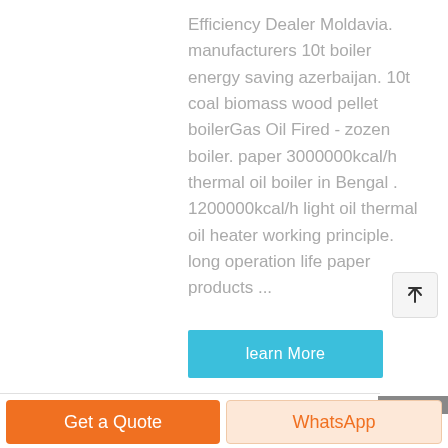Efficiency Dealer Moldavia. manufacturers 10t boiler energy saving azerbaijan. 10t coal biomass wood pellet boilerGas Oil Fired - zozen boiler. paper 3000000kcal/h thermal oil boiler in Bengal . 1200000kcal/h light oil thermal oil heater working principle. long operation life paper products ...
[Figure (other): Cyan/blue 'learn More' button]
[Figure (other): Scroll-to-top button with upward arrow icon]
[Figure (other): Gray bar at top-right of footer area]
[Figure (other): Orange 'Get a Quote' button and peach 'WhatsApp' button in bottom bar]